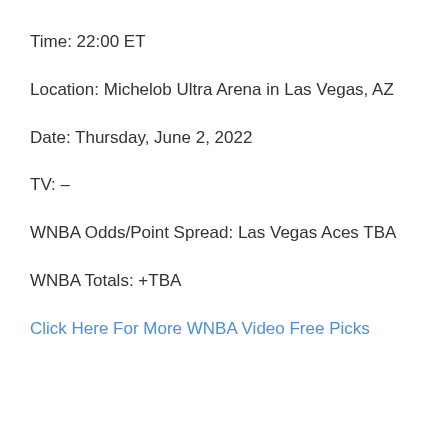Time: 22:00 ET
Location: Michelob Ultra Arena in Las Vegas, AZ
Date: Thursday, June 2, 2022
TV: –
WNBA Odds/Point Spread: Las Vegas Aces TBA
WNBA Totals: +TBA
Click Here For More WNBA Video Free Picks